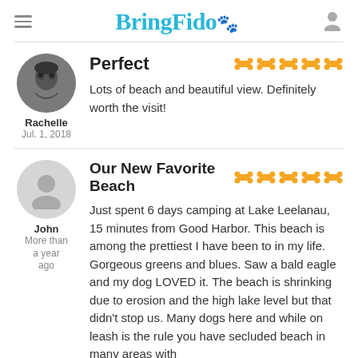BringFido
Perfect
Lots of beach and beautiful view. Definitely worth the visit!
Rachelle
Jul. 1, 2018
Our New Favorite Beach
Just spent 6 days camping at Lake Leelanau, 15 minutes from Good Harbor. This beach is among the prettiest I have been to in my life. Gorgeous greens and blues. Saw a bald eagle and my dog LOVED it. The beach is shrinking due to erosion and the high lake level but that didn't stop us. Many dogs here and while on leash is the rule you have secluded beach in many areas with
John
More than a year ago